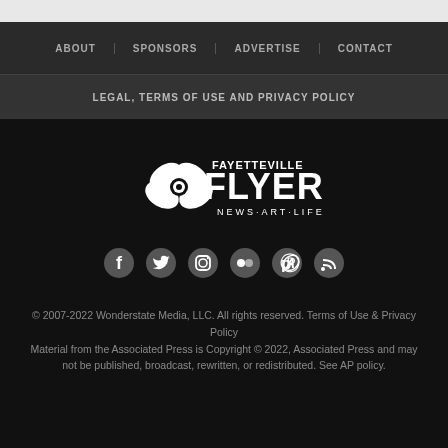ABOUT | SPONSORS | ADVERTISE | CONTACT
LEGAL, TERMS OF USE AND PRIVACY POLICY
[Figure (logo): Fayetteville Flyer logo with butterfly/flower icon and tagline NEWS·ART·LIFE]
[Figure (infographic): Social media icons: Facebook, Twitter, Instagram, Flickr, Pinterest, RSS]
© 2007-2022 Wonderstate Media, LLC. All rights reserved. Terms of Use & Privacy Policy
Material from the Associated Press is Copyright © 2022, Associated Press and may not be published, broadcast, rewritten, or redistributed. See AP policy.